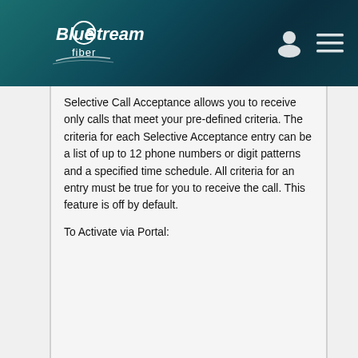[Figure (logo): Blue Stream fiber logo — white text on teal/dark gradient header background, with user icon and hamburger menu icon on the right]
Selective Call Acceptance allows you to receive only calls that meet your pre-defined criteria. The criteria for each Selective Acceptance entry can be a list of up to 12 phone numbers or digit patterns and a specified time schedule. All criteria for an entry must be true for you to receive the call. This feature is off by default.
To Activate via Portal: